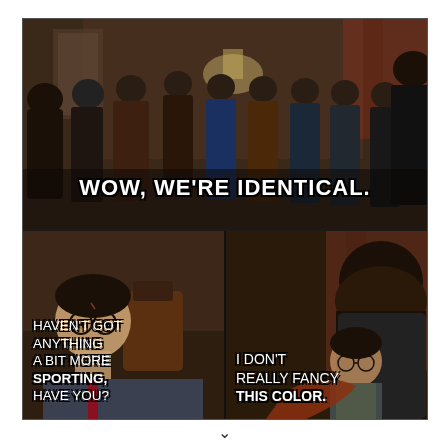[Figure (photo): Three-panel Harry Potter movie meme. Top panel: group of multiple Harry Potter look-alikes (uses of Polyjuice Potion scene) standing in a room. Bottom-left panel: Harry Potter character looking concerned. Bottom-right panel: Hagrid-like large figure with another character.]
WOW, WE'RE IDENTICAL.
HAVEN'T GOT ANYTHING A BIT MORE SPORTING, HAVE YOU?
I DON'T REALLY FANCY THIS COLOR.